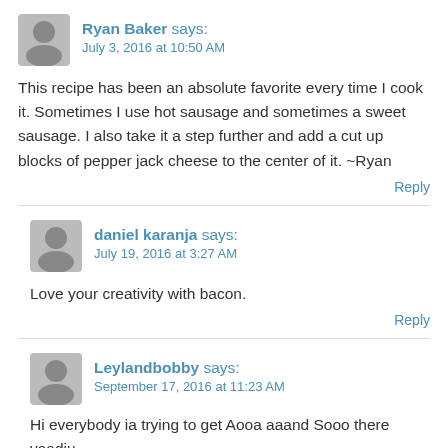Ryan Baker says:
July 3, 2016 at 10:50 AM
This recipe has been an absolute favorite every time I cook it. Sometimes I use hot sausage and sometimes a sweet sausage. I also take it a step further and add a cut up blocks of pepper jack cheese to the center of it. ~Ryan
Reply
daniel karanja says:
July 19, 2016 at 3:27 AM
Love your creativity with bacon.
Reply
Leylandbobby says:
September 17, 2016 at 11:23 AM